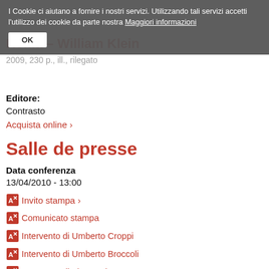[Figure (screenshot): Cookie consent banner overlay with text in Italian and an OK button]
Roma – William Klein
2009, 230 p., ill., rilegato
Editore:
Contrasto
Acquista online ›
Salle de presse
Data conferenza
13/04/2010 - 13:00
Invito stampa
Comunicato stampa
Intervento di Umberto Croppi
Intervento di Umberto Broccoli
Intervento di Alessandra Mauro
Introduzione al libro Roma + Klein
Biografia di William Klein